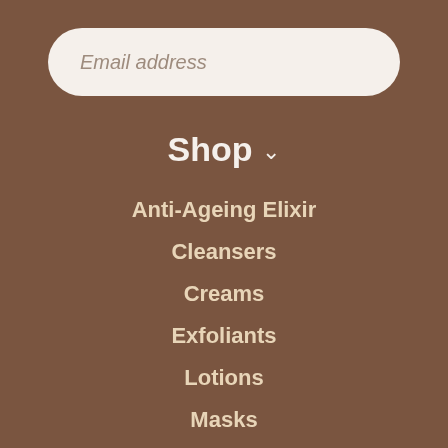[Figure (screenshot): Email address input field with rounded pill shape on brown background]
Shop ∨
Anti-Ageing Elixir
Cleansers
Creams
Exfoliants
Lotions
Masks
Moisturisers
Packs
Serums
Toning Mist